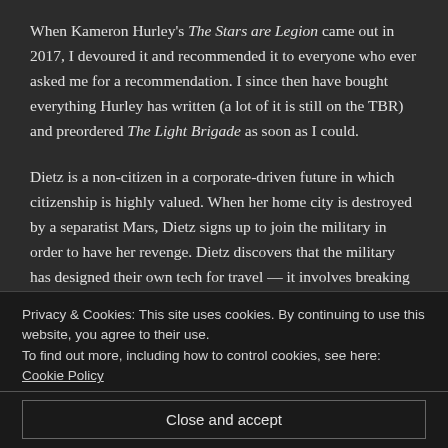When Kameron Hurley's The Stars are Legion came out in 2017, I devoured it and recommended it to everyone who ever asked me for a recommendation. I since then have bought everything Hurley has written (a lot of it is still on the TBR) and preordered The Light Brigade as soon as I could.
Dietz is a non-citizen in a corporate-driven future in which citizenship is highly valued. When her home city is destroyed by a separatist Mars, Dietz signs up to join the military in order to have her revenge. Dietz discovers that the military has designed their own tech for travel — it involves breaking oneself down into particles of light and beaming from one zone to another. Of course the process isn't perfect, and results in a lot of body horror and
Privacy & Cookies: This site uses cookies. By continuing to use this website, you agree to their use.
To find out more, including how to control cookies, see here: Cookie Policy
Close and accept
imagine myself being in Dietz's place the whole time, struggling